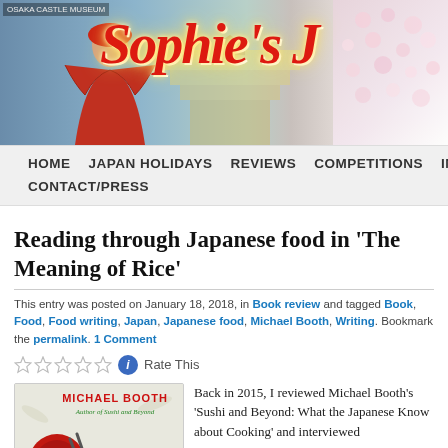[Figure (photo): Blog header banner showing Sophie's Japan blog title in red italic script with a woman in samurai costume near Osaka Castle and cherry blossoms on the right]
HOME   JAPAN HOLIDAYS   REVIEWS   COMPETITIONS   INTERVIEWS   CONTACT/PRESS
Reading through Japanese food in ‘The Meaning of Rice’
This entry was posted on January 18, 2018, in Book review and tagged Book, Food, Food writing, Japan, Japanese food, Michael Booth, Writing. Bookmark the permalink. 1 Comment
[Figure (photo): Book cover of 'The Meaning of Rice' by Michael Booth, Author of Sushi and Beyond, showing partial title 'THE' and a red circular sushi element]
Back in 2015, I reviewed Michael Booth’s ‘Sushi and Beyond: What the Japanese Know about Cooking’ and interviewed